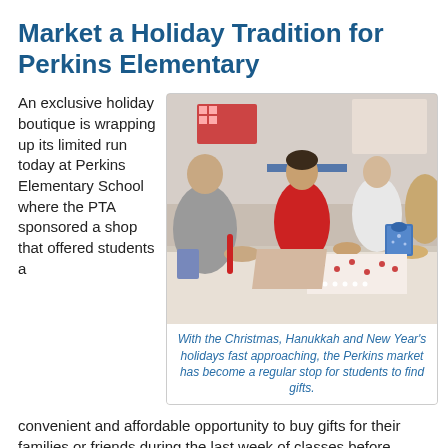Market a Holiday Tradition for Perkins Elementary
An exclusive holiday boutique is wrapping up its limited run today at Perkins Elementary School where the PTA sponsored a shop that offered students a convenient and affordable opportunity to buy gifts for their families or friends during the last week of classes before Winter
[Figure (photo): Children and adults gathered around a table at Perkins Elementary, wrapping and selecting holiday gifts. A child in a red shirt is prominently featured in the center.]
With the Christmas, Hanukkah and New Year's holidays fast approaching, the Perkins market has become a regular stop for students to find gifts.